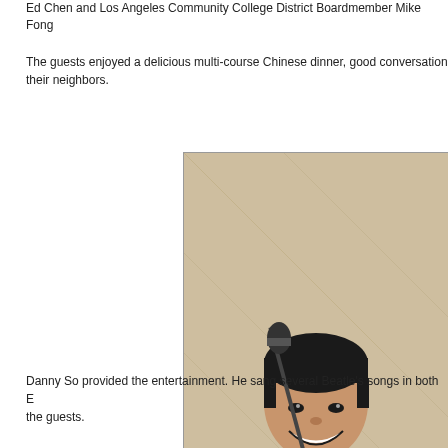Ed Chen and Los Angeles Community College District Boardmember Mike Fong
The guests enjoyed a delicious multi-course Chinese dinner, good conversation and their neighbors.
[Figure (photo): A man in a purple shirt and black vest playing a Roland keyboard, smiling and giving a thumbs up. He is standing in front of a microphone in a banquet hall setting.]
Danny So provided the entertainment. He sang several Beatle's songs in both English and Chinese, which delighted the guests.